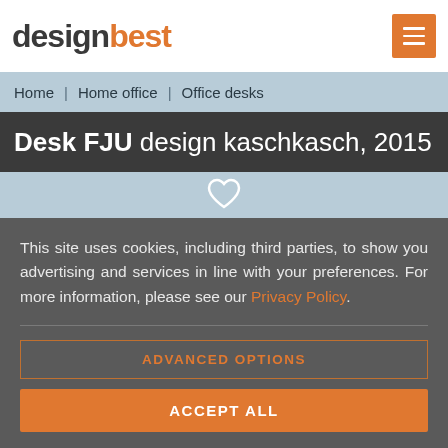designbest
Home | Home office | Office desks
Desk FJU design kaschkasch, 2015
[Figure (illustration): Heart icon on light blue background]
This site uses cookies, including third parties, to show you advertising and services in line with your preferences. For more information, please see our Privacy Policy.
ADVANCED OPTIONS
ACCEPT ALL